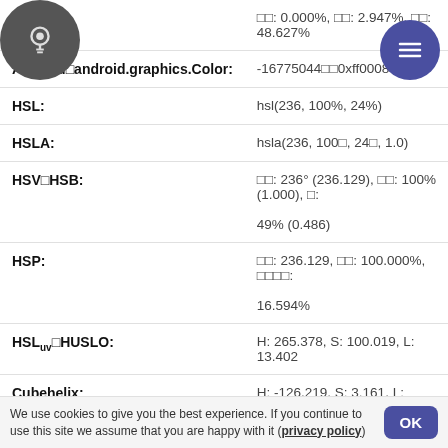| Property | Value |
| --- | --- |
| RYB: | □□: 0.000%, □□: 2.947%, □□: 48.627% |
| Android□android.graphics.Color: | -16775044□□0xff00087c |
| HSL: | hsl(236, 100%, 24%) |
| HSLA: | hsla(236, 100□, 24□, 1.0) |
| HSV□HSB: | □□: 236° (236.129), □□: 100% (1.000), □: 49% (0.486) |
| HSP: | □□: 236.129, □□: 100.000%, □□□□: 16.594% |
| HSLuvHUSL□: | H: 265.378, S: 100.019, L: 13.402 |
| Cubehelix: | H: -126.219, S: 3.161, L: 0.072 |
| TSL: | T: -2.795, S: 0.578, L: 0.074 |
| CMYK: | □□: 100% (1.000), □□□: 94% (0.935), □□: |
We use cookies to give you the best experience. If you continue to use this site we assume that you are happy with it (privacy policy)